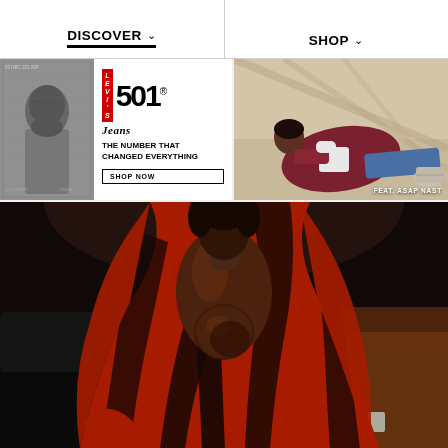DISCOVER ∨  |  SHOP ∨
[Figure (photo): Levi's 501 Jeans advertisement. Left side: black and white portrait photo of a young man. Right side: Levi's logo badge in red, large '501' text, italic 'Jeans' text, tagline 'THE NUMBER THAT CHANGED EVERYTHING', and a 'SHOP NOW' button.]
[Figure (photo): Fashion photo of ASAP Nast reclining on a surface wearing a maroon/burgundy jacket and blue jeans. Text overlay reads 'FEAT. ASAP NAST'.]
[Figure (photo): Large street style fashion photo of a person wearing a dramatic red and black patterned cape/coat with a brown leather bag, photographed at night near cars.]